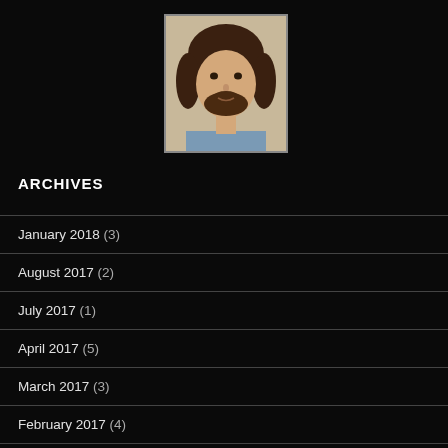[Figure (photo): Portrait photo of a man with medium-length dark hair and a beard, against a light background]
ARCHIVES
January 2018 (3)
August 2017 (2)
July 2017 (1)
April 2017 (5)
March 2017 (3)
February 2017 (4)
January 2017 (3)